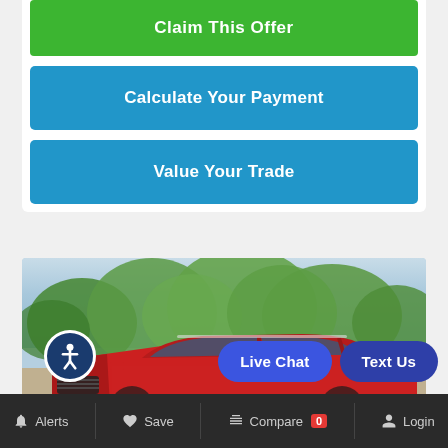Claim This Offer
Calculate Your Payment
Value Your Trade
[Figure (photo): Red Ford Escape SUV parked outdoors with green trees in the background]
Live Chat
Text Us
Alerts  Save  Compare 0  Login